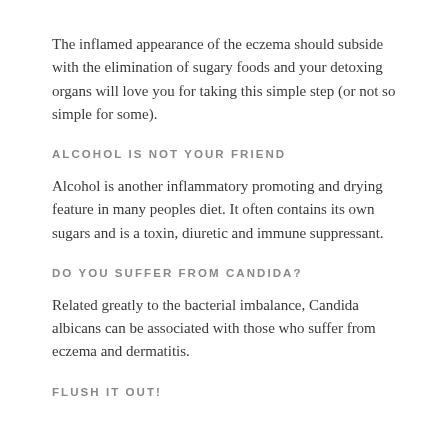The inflamed appearance of the eczema should subside with the elimination of sugary foods and your detoxing organs will love you for taking this simple step (or not so simple for some).
ALCOHOL IS NOT YOUR FRIEND
Alcohol is another inflammatory promoting and drying feature in many peoples diet. It often contains its own sugars and is a toxin, diuretic and immune suppressant.
DO YOU SUFFER FROM CANDIDA?
Related greatly to the bacterial imbalance, Candida albicans can be associated with those who suffer from eczema and dermatitis.
FLUSH IT OUT!